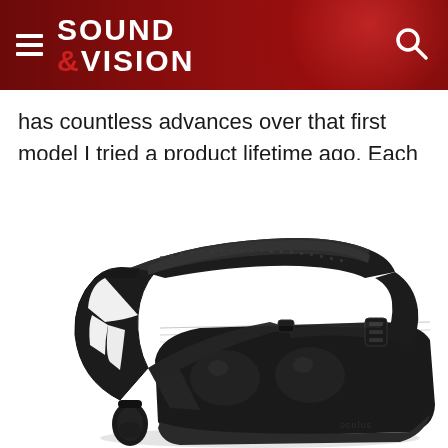SOUND &VISION
has countless advances over that first model I tried a product lifetime ago. Each one is important.
[Figure (photo): A black Oculus VR headset photographed from a three-quarter angle on a white background, showing the head strap, front face plate, and lens housing. The Oculus logo is visible on the side.]